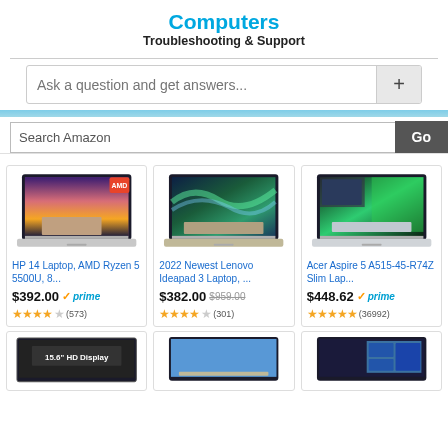Computers
Troubleshooting & Support
Ask a question and get answers...
Search Amazon
[Figure (screenshot): HP 14 Laptop product image showing laptop with sunset wallpaper]
HP 14 Laptop, AMD Ryzen 5 5500U, 8...
$392.00 prime (573)
[Figure (screenshot): 2022 Newest Lenovo Ideapad 3 laptop product image showing laptop with aurora borealis wallpaper]
2022 Newest Lenovo Ideapad 3 Laptop, ...
$382.00 $959.00 (301)
[Figure (screenshot): Acer Aspire 5 A515-45-R74Z laptop product image showing laptop with green wallpaper]
Acer Aspire 5 A515-45-R74Z Slim Lap...
$448.62 prime (36992)